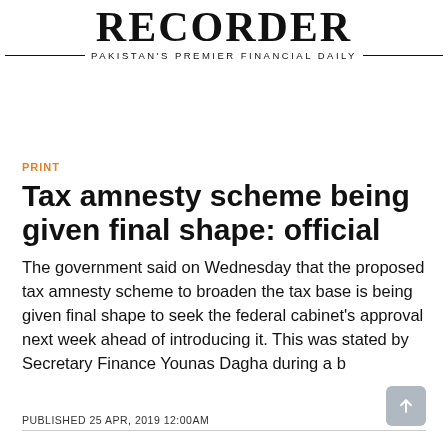RECORDER — PAKISTAN'S PREMIER FINANCIAL DAILY
PRINT
Tax amnesty scheme being given final shape: official
The government said on Wednesday that the proposed tax amnesty scheme to broaden the tax base is being given final shape to seek the federal cabinet's approval next week ahead of introducing it. This was stated by Secretary Finance Younas Dagha during a b
PUBLISHED 25 APR, 2019 12:00AM